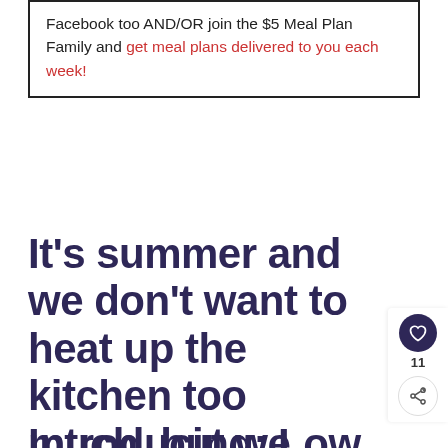Facebook too AND/OR join the $5 Meal Plan Family and get meal plans delivered to you each week!
It's summer and we don't want to heat up the kitchen too much, but we also can't have cereal every single night?!?
Introducing: Low